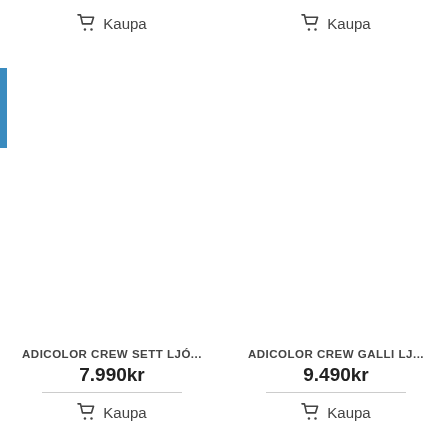🛒 Kaupa (top left)
🛒 Kaupa (top right)
[Figure (screenshot): Blue search button with magnifying glass icon]
ADICOLOR CREW SETT LJÓ...
7.990kr
🛒 Kaupa
ADICOLOR CREW GALLI LJ...
9.490kr
🛒 Kaupa